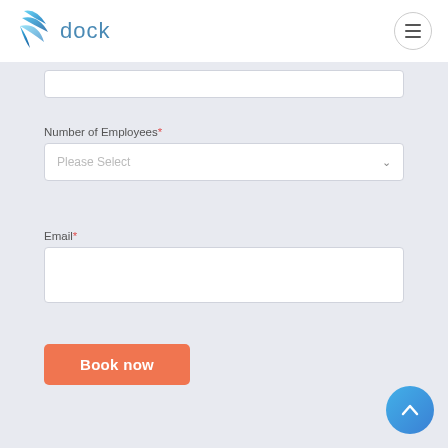[Figure (logo): Dock logo with teal/blue bird-wing icon and the text 'dock' in blue]
[Figure (other): Hamburger menu button (three horizontal lines) in a circular border]
Number of Employees*
Please Select
Email*
Book now
[Figure (other): Back-to-top circular blue button with upward chevron arrow]